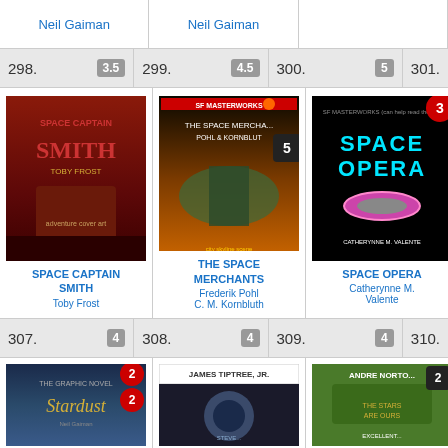Neil Gaiman (col 1 top)
Neil Gaiman (col 2 top)
298. 3.5
299. 4.5
300. 5
301.
[Figure (photo): Book cover: Space Captain Smith by Toby Frost]
SPACE CAPTAIN SMITH
Toby Frost
[Figure (photo): Book cover: The Space Merchants by Pohl & Kornbluth, badge: 5]
THE SPACE MERCHANTS
Frederik Pohl
C. M. Kornbluth
[Figure (photo): Book cover: Space Opera by Catherynne M. Valente, badge: 3]
SPACE OPERA
Catherynne M. Valente
[Figure (photo): Book cover: The Sp... Ch... (partially visible)]
THE S…
CH…
Colle…
307. 4
308. 4
309. 4
310.
[Figure (photo): Book cover: Stardust by Neil Gaiman, badges: 2, 2]
[Figure (photo): Book cover: James Tiptree Jr. book]
[Figure (photo): Book cover: Andre Norton - The Stars Are Ours, badge: 2]
[Figure (photo): Book cover: SF Masterworks - The St... Alfred... (partially visible)]